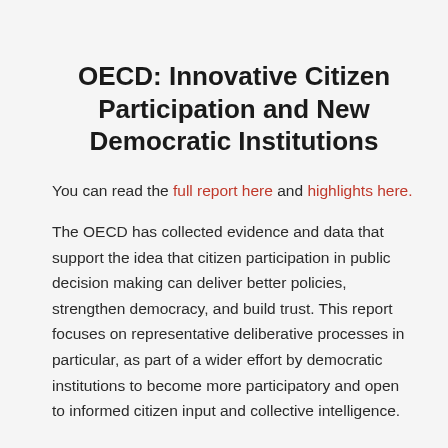OECD: Innovative Citizen Participation and New Democratic Institutions
You can read the full report here and highlights here.
The OECD has collected evidence and data that support the idea that citizen participation in public decision making can deliver better policies, strengthen democracy, and build trust. This report focuses on representative deliberative processes in particular, as part of a wider effort by democratic institutions to become more participatory and open to informed citizen input and collective intelligence.